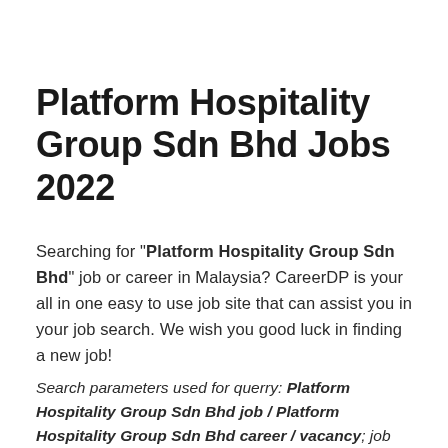Platform Hospitality Group Sdn Bhd Jobs 2022
Searching for "Platform Hospitality Group Sdn Bhd" job or career in Malaysia? CareerDP is your all in one easy to use job site that can assist you in your job search. We wish you good luck in finding a new job!
Search parameters used for querry: Platform Hospitality Group Sdn Bhd job / Platform Hospitality Group Sdn Bhd career / vacancy; job location: Malaysia. Your search results...